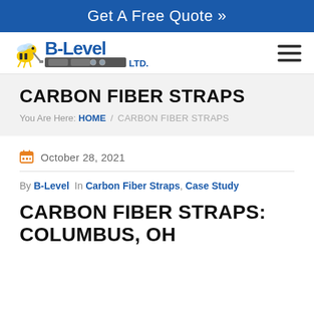Get A Free Quote »
[Figure (logo): B-Level Ltd. logo with cartoon bee mascot and spirit level graphic]
CARBON FIBER STRAPS
You Are Here: HOME / CARBON FIBER STRAPS
October 28, 2021
By B-Level  In Carbon Fiber Straps, Case Study
CARBON FIBER STRAPS: COLUMBUS, OH